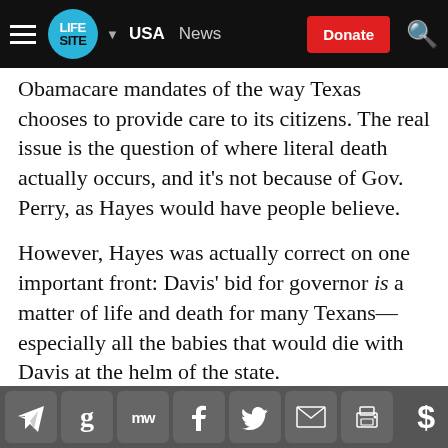LIFESITE · USA · News · Donate
Obamacare mandates of the way Texas chooses to provide care to its citizens. The real issue is the question of where literal death actually occurs, and it's not because of Gov. Perry, as Hayes would have people believe.
However, Hayes was actually correct on one important front: Davis' bid for governor is a matter of life and death for many Texans—especially all the babies that would die with Davis at the helm of the state.
SUBSCRIBE TO OUR DAILY HEADLINES
Social share buttons: Telegram, Google, MeWe, Facebook, Twitter, Email, Print, Donate